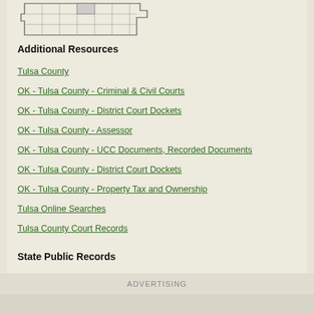[Figure (map): Oklahoma county map outline showing Tulsa County highlighted]
Additional Resources
Tulsa County
OK - Tulsa County - Criminal & Civil Courts
OK - Tulsa County - District Court Dockets
OK - Tulsa County - Assessor
OK - Tulsa County - UCC Documents, Recorded Documents
OK - Tulsa County - District Court Dockets
OK - Tulsa County - Property Tax and Ownership
Tulsa Online Searches
Tulsa County Court Records
State Public Records
ADVERTISING